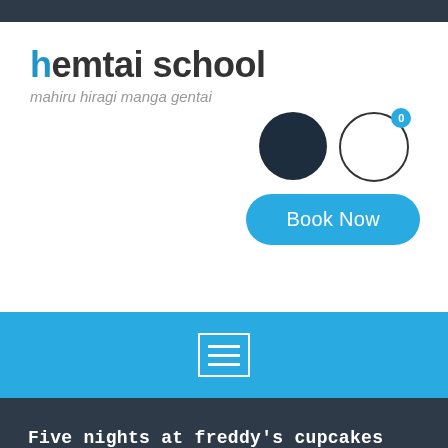hemtai school
mahiru hiragi manga gentai
[Figure (other): Dark filled circle icon (user avatar placeholder) and an outlined circle with badge showing '0' (cart/notification icon), plus a 'Book Now' button below]
[Figure (other): Blue navigation bar with a hamburger/menu icon (three horizontal lines inside a rectangle outline)]
Five nights at freddy's cupcakes Hentai